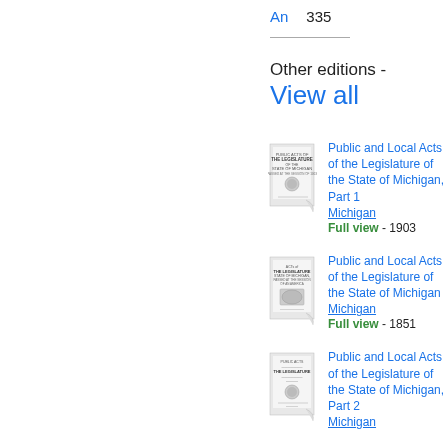An  335
Other editions -
View all
Public and Local Acts of the Legislature of the State of Michigan, Part 1
Michigan
Full view - 1903
Public and Local Acts of the Legislature of the State of Michigan
Michigan
Full view - 1851
Public and Local Acts of the Legislature of the State of Michigan, Part 2
Michigan